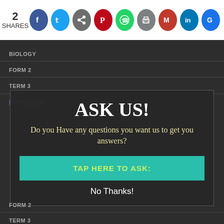2 SHARES — social share bar with Facebook, Twitter, Share, Pinterest, WhatsApp, Print, Gmail, LinkedIn, Google icons
BIOLOGY
FORM 2
TERM 3
DOWNLOAD
ASK US!
Do you Have any questions you want us to get you answers?
TAP HERE TO ASK:
No Thanks!
FORM 2
TERM 3
DOWNLOAD
BIOLOGY